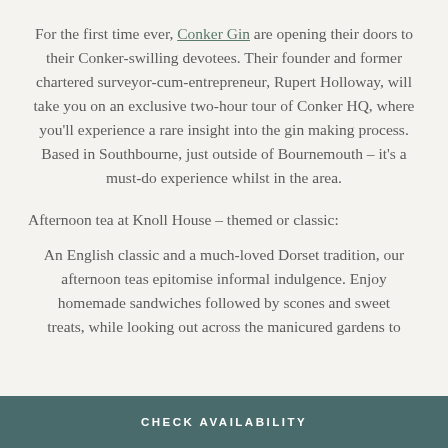For the first time ever, Conker Gin are opening their doors to their Conker-swilling devotees. Their founder and former chartered surveyor-cum-entrepreneur, Rupert Holloway, will take you on an exclusive two-hour tour of Conker HQ, where you'll experience a rare insight into the gin making process. Based in Southbourne, just outside of Bournemouth – it's a must-do experience whilst in the area.
Afternoon tea at Knoll House – themed or classic:
An English classic and a much-loved Dorset tradition, our afternoon teas epitomise informal indulgence. Enjoy homemade sandwiches followed by scones and sweet treats, while looking out across the manicured gardens to
CHECK AVAILABILITY